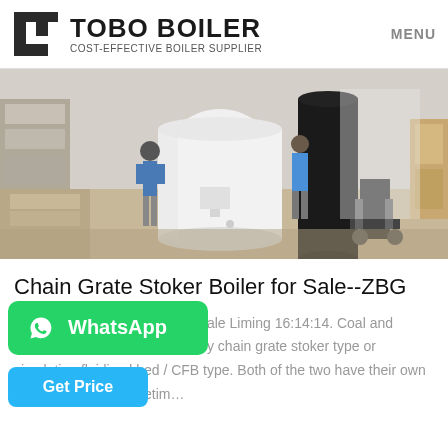TOBO BOILER — COST-EFFECTIVE BOILER SUPPLIER | MENU
[Figure (photo): Warehouse scene showing large cylindrical boilers, one white and one black, with workers in background and industrial equipment]
Chain Grate Stoker Boiler for Sale--ZBG
Chain Grate Stoker Boiler for Sale Liming 16:14:14. Coal and biomass fired boilers are usually chain grate stoker type or circulating fluidized bed / CFB type. Both of the two have their own advantages, but sometim…
[Figure (logo): WhatsApp green button with WhatsApp icon and text]
[Figure (other): Get Price blue button]